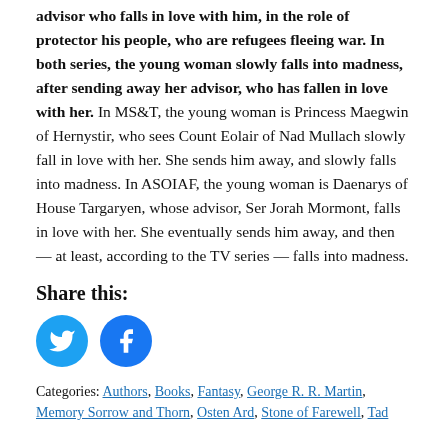advisor who falls in love with her, in the role of protector his people, who are refugees fleeing war. In both series, the young woman slowly falls into madness, after sending away her advisor, who has fallen in love with her. In MS&T, the young woman is Princess Maegwin of Hernystir, who sees Count Eolair of Nad Mullach slowly fall in love with her. She sends him away, and slowly falls into madness. In ASOIAF, the young woman is Daenarys of House Targaryen, whose advisor, Ser Jorah Mormont, falls in love with her. She eventually sends him away, and then — at least, according to the TV series — falls into madness.
Share this:
[Figure (other): Twitter and Facebook share icons as circular buttons]
Categories: Authors, Books, Fantasy, George R. R. Martin, Memory Sorrow and Thorn, Osten Ard, Stone of Farewell, Tad